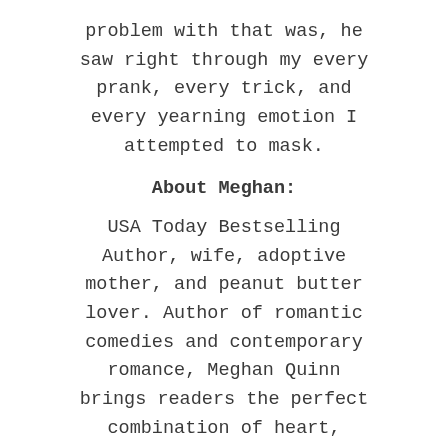problem with that was, he saw right through my every prank, every trick, and every yearning emotion I attempted to mask.
About Meghan:
USA Today Bestselling Author, wife, adoptive mother, and peanut butter lover. Author of romantic comedies and contemporary romance, Meghan Quinn brings readers the perfect combination of heart, humor, and heat in every